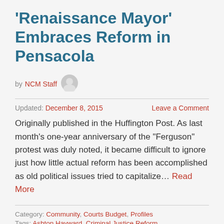'Renaissance Mayor' Embraces Reform in Pensacola
by NCM Staff
Updated: December 8, 2015    Leave a Comment
Originally published in the Huffington Post. As last month's one-year anniversary of the "Ferguson" protest was duly noted, it became difficult to ignore just how little actual reform has been accomplished as old political issues tried to capitalize… Read More
Category: Community, Courts Budget, Profiles
Tags: Ashton Hayward, Criminal Justice Reform,